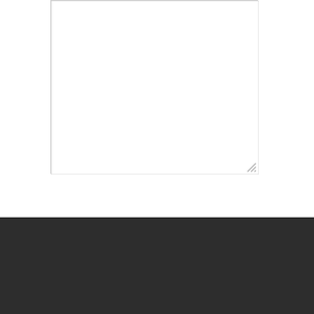[Figure (screenshot): Empty textarea input box with resize handle at bottom right]
Post Comment
This site uses Akismet to reduce spam. Learn how your comment data is processed.
NORTH COLUMBUS
6200-C Huntley Road